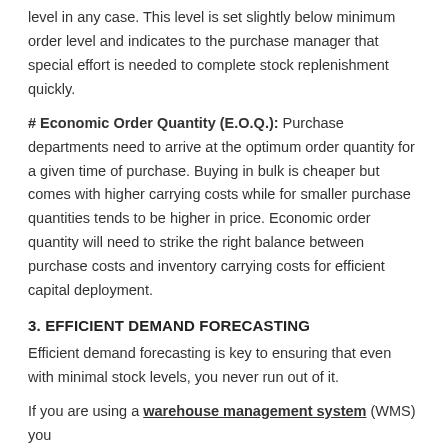level in any case. This level is set slightly below minimum order level and indicates to the purchase manager that special effort is needed to complete stock replenishment quickly.
# Economic Order Quantity (E.O.Q.): Purchase departments need to arrive at the optimum order quantity for a given time of purchase. Buying in bulk is cheaper but comes with higher carrying costs while for smaller purchase quantities tends to be higher in price. Economic order quantity will need to strike the right balance between purchase costs and inventory carrying costs for efficient capital deployment.
3. EFFICIENT DEMAND FORECASTING
Efficient demand forecasting is key to ensuring that even with minimal stock levels, you never run out of it.
If you are using a warehouse management system (WMS) you will be able to forecast demand more accurately.